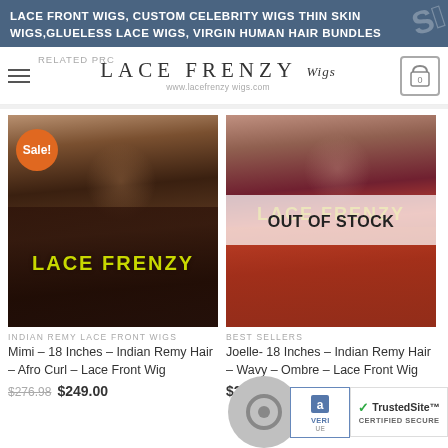LACE FRONT WIGS, CUSTOM CELEBRITY WIGS THIN SKIN WIGS,GLUELESS LACE WIGS, VIRGIN HUMAN HAIR BUNDLES
[Figure (logo): Lace Frenzy Wigs logo with hamburger menu, cart icon, and website URL www.lacefrenzy wigs.com. Text: RELATED PRC on the left.]
[Figure (photo): Product photo of a woman wearing Indian Remy Afro Curl Lace Front Wig. Has orange Sale! badge and LACE FRENZY watermark.]
INDIAN REMY LACE FRONT WIGS
Mimi – 18 Inches – Indian Remy Hair – Afro Curl – Lace Front Wig
$276.98  $249.00
[Figure (photo): Product photo of a woman wearing Indian Remy Wavy Ombre Lace Front Wig. Has LACE FRENZY watermark and OUT OF STOCK overlay.]
BEST SELLERS
Joelle- 18 Inches – Indian Remy Hair – Wavy – Ombre – Lace Front Wig
$265.99
[Figure (logo): VeriSign verified badge and TrustedSite Certified Secure badge in the bottom right corner.]